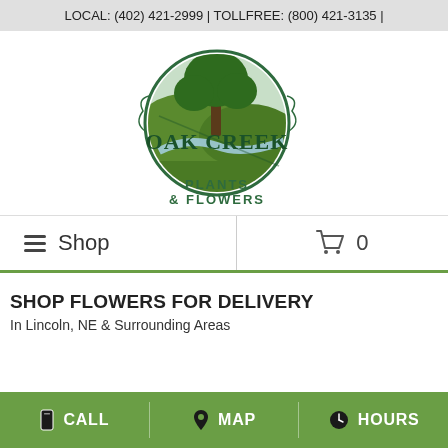LOCAL: (402) 421-2999 | TOLLFREE: (800) 421-3135 |
[Figure (logo): Oak Creek Plants & Flowers circular logo with oak tree and creek illustration, green and brown colors]
≡ Shop
🛒 0
SHOP FLOWERS FOR DELIVERY
In Lincoln, NE & Surrounding Areas
CALL   MAP   HOURS